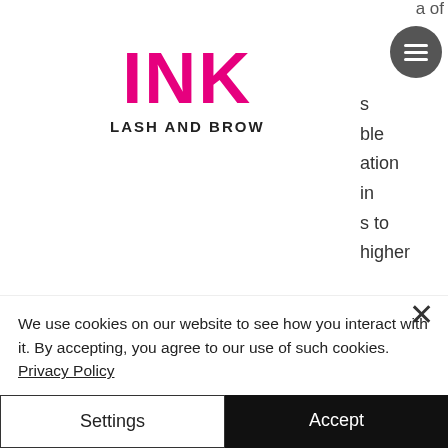[Figure (logo): INK Lash and Brow logo — bold pink 'INK' text with 'LASH AND BROW' subtitle]
[Figure (other): Hamburger menu button — dark grey circle with three horizontal white lines]
a of
s
ble
ation
in
s to
higher
as the player can expect to receive a better. How to play: overview. There are lots of different types of slot machines at the casino, and not all of them have the same odds of winning or. Nearly 60,000 square feet of action · over
We use cookies on our website to see how you interact with it. By accepting, you agree to our use of such cookies. Privacy Policy
Settings
Accept